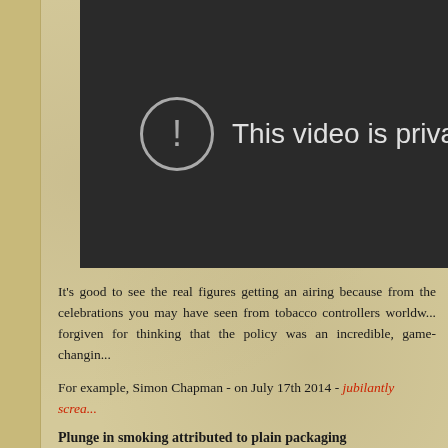[Figure (screenshot): Embedded video player showing 'This video is private' error message with exclamation mark icon in a circle on dark background]
It's good to see the real figures getting an airing because from the celebrations you may have seen from tobacco controllers worldw... forgiven for thinking that the policy was an incredible, game-changin...
For example, Simon Chapman - on July 17th 2014 - jubilantly screa...
Plunge in smoking attributed to plain packaging